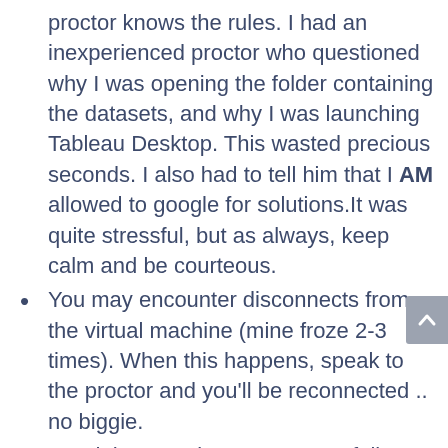proctor knows the rules. I had an inexperienced proctor who questioned why I was opening the folder containing the datasets, and why I was launching Tableau Desktop. This wasted precious seconds. I also had to tell him that I AM allowed to google for solutions.It was quite stressful, but as always, keep calm and be courteous.
You may encounter disconnects from the virtual machine (mine froze 2-3 times). When this happens, speak to the proctor and you'll be reconnected .. no biggie.
Read the questions. Very. Carefully. I know exams are stressful but don't miss important keywords. More often than not, the solutions are not too...